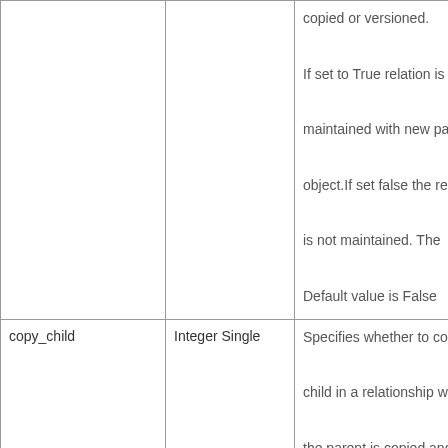| (name) | (type) | (description) |
| --- | --- | --- |
|  |  | copied or versioned.

If set to True relation is maintained with new parent object.If set false the relation is not maintained. The Default value is False |
| copy_child | Integer Single | Specifies whether to copy the child in a relationship when the parent is copied and permanent_link is True. .

There are 2 Possible values for it. And they are

0 – Do not copy Child

1 – Copy Child |
| a_controlling_kind | Char (32)

Single | This indicates whether relationships of this type are |